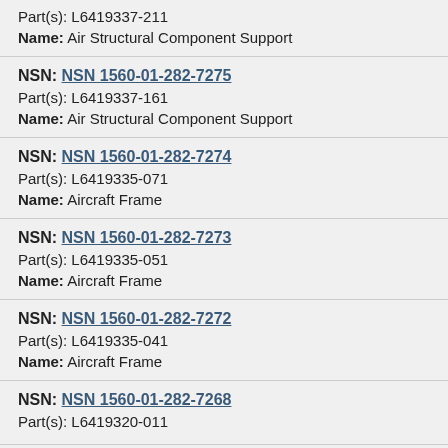Part(s): L6419337-211
Name: Air Structural Component Support
NSN: NSN 1560-01-282-7275
Part(s): L6419337-161
Name: Air Structural Component Support
NSN: NSN 1560-01-282-7274
Part(s): L6419335-071
Name: Aircraft Frame
NSN: NSN 1560-01-282-7273
Part(s): L6419335-051
Name: Aircraft Frame
NSN: NSN 1560-01-282-7272
Part(s): L6419335-041
Name: Aircraft Frame
NSN: NSN 1560-01-282-7268
Part(s): L6419320-011